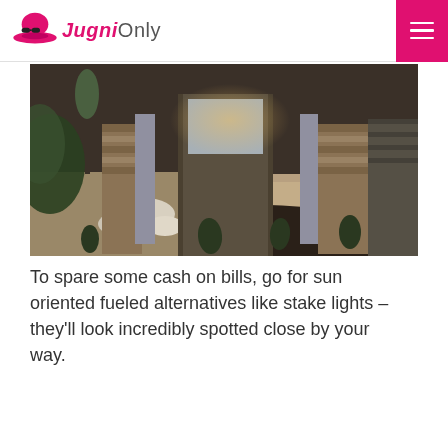Jugni Only
[Figure (photo): Exterior of a modern home with stone-clad columns, a wide pathway with gravel, ornamental grasses and rocks in a landscaped garden, and a glimpse of the front door area at dusk/evening lighting.]
To spare some cash on bills, go for sun oriented fueled alternatives like stake lights – they'll look incredibly spotted close by your way.